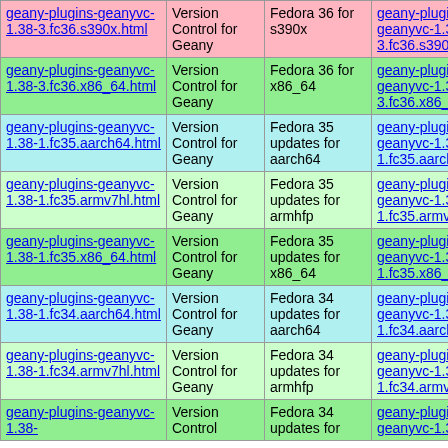|  |  |  |  |
| --- | --- | --- | --- |
| geany-plugins-geanyvc-1.38-3.fc36.s390x.html | Version Control for Geany | Fedora 36 for s390x | geany-plugins-geanyvc-1.38-3.fc36.s390x.rpm |
| geany-plugins-geanyvc-1.38-3.fc36.x86_64.html | Version Control for Geany | Fedora 36 for x86_64 | geany-plugins-geanyvc-1.38-3.fc36.x86_64.rpm |
| geany-plugins-geanyvc-1.38-1.fc35.aarch64.html | Version Control for Geany | Fedora 35 updates for aarch64 | geany-plugins-geanyvc-1.38-1.fc35.aarch64.rpm |
| geany-plugins-geanyvc-1.38-1.fc35.armv7hl.html | Version Control for Geany | Fedora 35 updates for armhfp | geany-plugins-geanyvc-1.38-1.fc35.armv7hl.rpm |
| geany-plugins-geanyvc-1.38-1.fc35.x86_64.html | Version Control for Geany | Fedora 35 updates for x86_64 | geany-plugins-geanyvc-1.38-1.fc35.x86_64.rpm |
| geany-plugins-geanyvc-1.38-1.fc34.aarch64.html | Version Control for Geany | Fedora 34 updates for aarch64 | geany-plugins-geanyvc-1.38-1.fc34.aarch64.rpm |
| geany-plugins-geanyvc-1.38-1.fc34.armv7hl.html | Version Control for Geany | Fedora 34 updates for armhfp | geany-plugins-geanyvc-1.38-1.fc34.armv7hl.rpm |
| geany-plugins-geanyvc-1.38- | Version Control | Fedora 34 updates for | geany-plugins-geanyvc-1.38- |